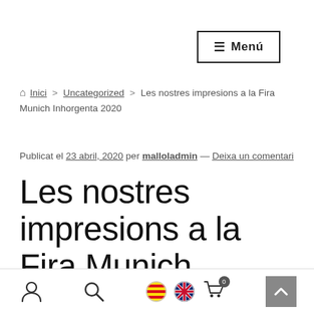≡ Menú
🏠 Inici > Uncategorized > Les nostres impresions a la Fira Munich Inhorgenta 2020
Publicat el 23 abril, 2020 per malloladmin — Deixa un comentari
Les nostres impresions a la Fira Munich Inhorgenta 2020
[user icon] [search icon] [flag icons] [cart icon] [scroll-top]